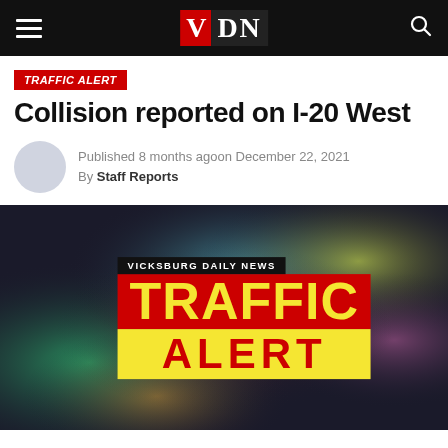VDN — Vicksburg Daily News navigation bar
TRAFFIC ALERT
Collision reported on I-20 West
Published 8 months ago on December 22, 2021
By Staff Reports
[Figure (illustration): Vicksburg Daily News Traffic Alert graphic on a dark blurred colorful background. Black banner reads 'VICKSBURG DAILY NEWS', red banner reads 'TRAFFIC' in yellow letters, yellow banner reads 'ALERT' in red letters.]